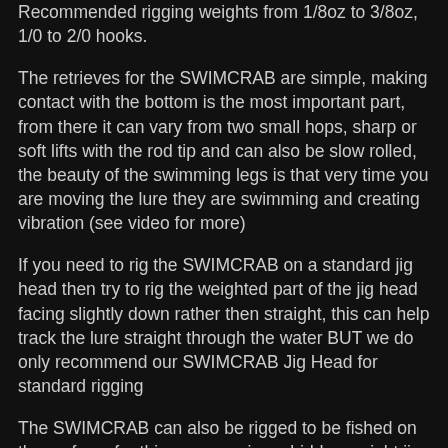Recommended rigging weights from 1/8oz to 3/8oz, 1/0 to 2/0 hooks.
The retrieves for the SWIMCRAB are simple, making contact with the bottom is the most important part, from there it can vary from two small hops, sharp or soft lifts with the rod tip and can also be slow rolled, the beauty of the swimming legs is that very time you are moving the lure they are swimming and creating vibration (see video for more)
If you need to rig the SWIMCRAB on a standard jig head then try to rig the weighted part of the jig head facing slightly down rather then straight, this can help track the lure straight through the water BUT we do only recommend our SWIMCRAB Jig Head for standard rigging
The SWIMCRAB can also be rigged to be fished on the surface, for this we are using a hidden weight jig head rigged upside down and tying the leader straight onto the hook shank with a three turn uni knot rather then tying onto the hook loop (see video for introductions)